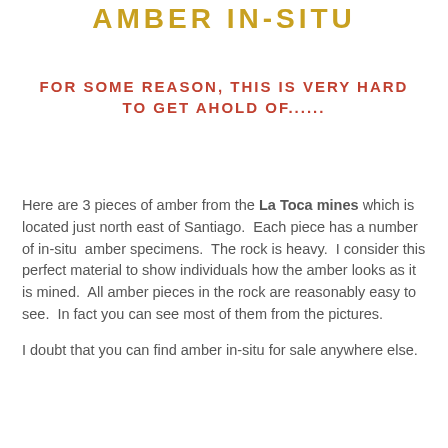AMBER IN-SITU
FOR SOME REASON, THIS IS VERY HARD TO GET AHOLD OF......
Here are 3 pieces of amber from the La Toca mines which is located just north east of Santiago.  Each piece has a number of in-situ  amber specimens.  The rock is heavy.  I consider this perfect material to show individuals how the amber looks as it is mined.  All amber pieces in the rock are reasonably easy to see.  In fact you can see most of them from the pictures.
I doubt that you can find amber in-situ for sale anywhere else.